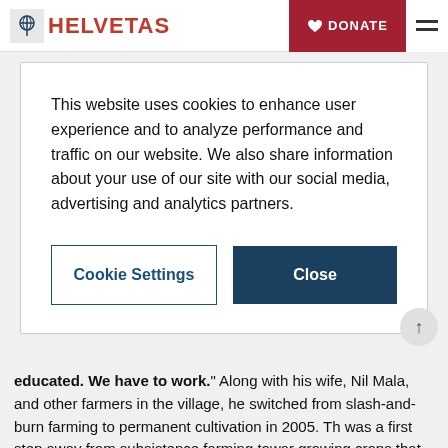HELVETAS | DONATE
This website uses cookies to enhance user experience and to analyze performance and traffic on our website. We also share information about your use of our site with our social media, advertising and analytics partners.
Cookie Settings | Close
educated. We have to work." Along with his wife, Nil Mala, and other farmers in the village, he switched from slash-and-burn farming to permanent cultivation in 2005. Th was a first step away from subsistence farming towar growing crops that can be marketed – to yield income.